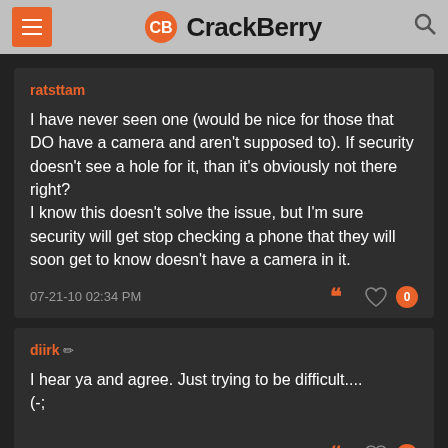CrackBerry
ratsttam
I have never seen one (would be nice for those that DO have a camera and aren't supposed to). If security doesn't see a hole for it, than it's obviously not there right?
I know this doesn't solve the issue, but I'm sure security will get stop checking a phone that they will soon get to know doesn't have a camera in it.
07-21-10 02:34 PM
diirk
I hear ya and agree. Just trying to be difficult....
(-;
07-21-10 03:00 PM